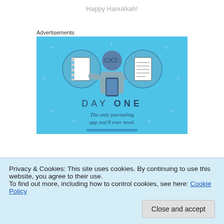Happy Hanukkah!
Advertisements
[Figure (illustration): Day One journaling app advertisement. Blue background with illustration of a person holding a phone, flanked by two circular icons showing a notebook and a list. Text reads: DAY ONE – The only journaling app you'll ever need.]
Privacy & Cookies: This site uses cookies. By continuing to use this website, you agree to their use.
To find out more, including how to control cookies, see here: Cookie Policy
about 9 minutes in, we saw the lead pack passing mile 2